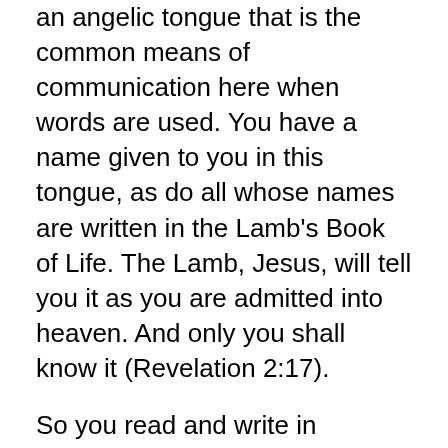an angelic tongue that is the common means of communication here when words are used. You have a name given to you in this tongue, as do all whose names are written in the Lamb's Book of Life. The Lamb, Jesus, will tell you it as you are admitted into heaven. And only you shall know it (Revelation 2:17).
So you read and write in heaven, O' Beloved? Yes. In fact, that is what your position in the eternal Kingdom shall consist of. But you will be reading and writing in angelic tongues in the Kingdom. We, together, are to serve the King of kings in storing and retrieving eternal knowledge.
So, we are to be a sort of living, dynamic database in the heavenly Kingdom, O' Beloved? In your analogy, we can be compared to a database, where the main CPU is the One Who sits on the Throne. And then all the other circuits